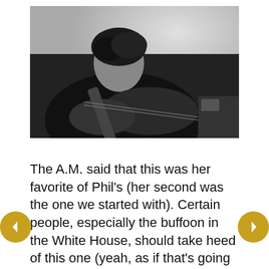[Figure (photo): Black and white photograph of a young man with dark hair playing an acoustic guitar, seated, smiling slightly at the camera. Other objects visible in the background.]
The A.M. said that this was her favorite of Phil's (her second was the one we started with). Certain people, especially the buffoon in the White House, should take heed of this one (yeah, as if that's going to happen)